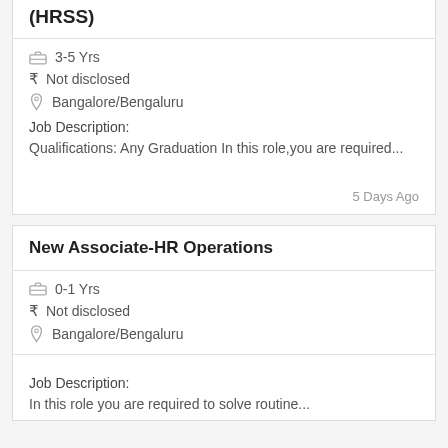(HRSS)
3-5 Yrs
₹ Not disclosed
Bangalore/Bengaluru
Job Description:
Qualifications: Any Graduation In this role,you are required...
5 Days Ago
New Associate-HR Operations
0-1 Yrs
₹ Not disclosed
Bangalore/Bengaluru
Job Description:
In this role you are required to solve routine...